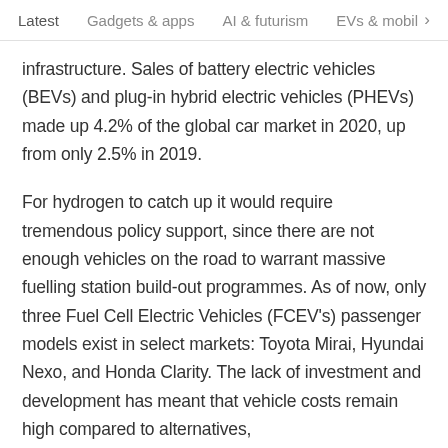Latest   Gadgets & apps   AI & futurism   EVs & mobil  >
infrastructure. Sales of battery electric vehicles (BEVs) and plug-in hybrid electric vehicles (PHEVs) made up 4.2% of the global car market in 2020, up from only 2.5% in 2019.
For hydrogen to catch up it would require tremendous policy support, since there are not enough vehicles on the road to warrant massive fuelling station build-out programmes. As of now, only three Fuel Cell Electric Vehicles (FCEV's) passenger models exist in select markets: Toyota Mirai, Hyundai Nexo, and Honda Clarity. The lack of investment and development has meant that vehicle costs remain high compared to alternatives,